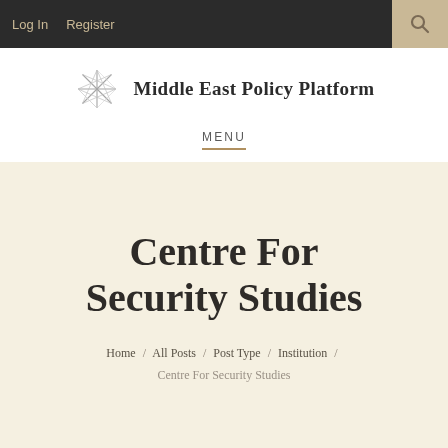Log In  Register
[Figure (logo): Middle East Policy Platform logo with stylized star/asterisk graphic and site name text]
MENU
Centre For Security Studies
Home / All Posts / Post Type / Institution / Centre For Security Studies